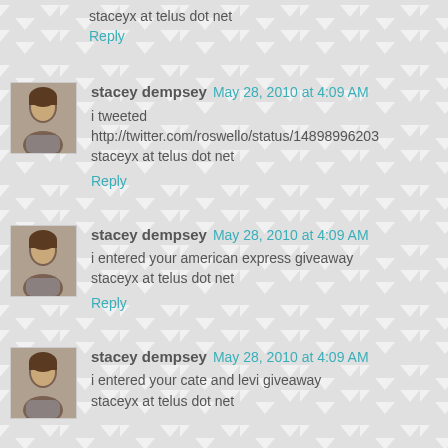staceyx at telus dot net
Reply
stacey dempsey May 28, 2010 at 4:09 AM
i tweeted http://twitter.com/roswello/status/14898996203
staceyx at telus dot net
Reply
stacey dempsey May 28, 2010 at 4:09 AM
i entered your american express giveaway
staceyx at telus dot net
Reply
stacey dempsey May 28, 2010 at 4:09 AM
i entered your cate and levi giveaway
staceyx at telus dot net